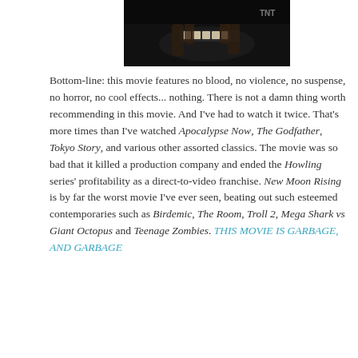[Figure (screenshot): A dark screenshot from a movie or TV broadcast showing an extreme close-up of teeth/mouth, with a TNT watermark visible in the upper right corner.]
Bottom-line: this movie features no blood, no violence, no suspense, no horror, no cool effects... nothing. There is not a damn thing worth recommending in this movie. And I've had to watch it twice. That's more times than I've watched Apocalypse Now, The Godfather, Tokyo Story, and various other assorted classics. The movie was so bad that it killed a production company and ended the Howling series' profitability as a direct-to-video franchise. New Moon Rising is by far the worst movie I've ever seen, beating out such esteemed contemporaries such as Birdemic, The Room, Troll 2, Mega Shark vs Giant Octopus and Teenage Zombies. THIS MOVIE IS GARBAGE, AND GARBAGE